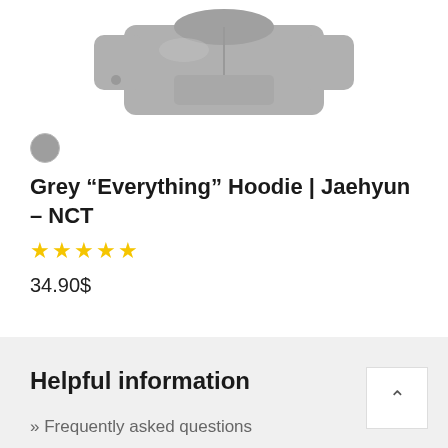[Figure (photo): Grey hoodie product image, partially cropped at top, showing the upper portion of a grey sweatshirt hoodie]
Grey “Everything” Hoodie | Jaehyun – NCT
34.90$
Helpful information
» Frequently asked questions
» Shipping information
» Track your order